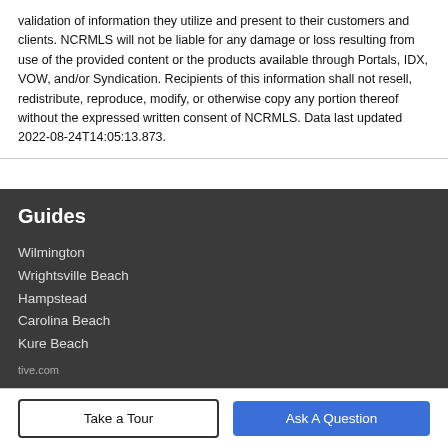validation of information they utilize and present to their customers and clients. NCRMLS will not be liable for any damage or loss resulting from use of the provided content or the products available through Portals, IDX, VOW, and/or Syndication. Recipients of this information shall not resell, redistribute, reproduce, modify, or otherwise copy any portion thereof without the expressed written consent of NCRMLS. Data last updated 2022-08-24T14:05:13.873.
Guides
Wilmington
Wrightsville Beach
Hampstead
Carolina Beach
Kure Beach
More Guides >
Take a Tour
Ask A Question